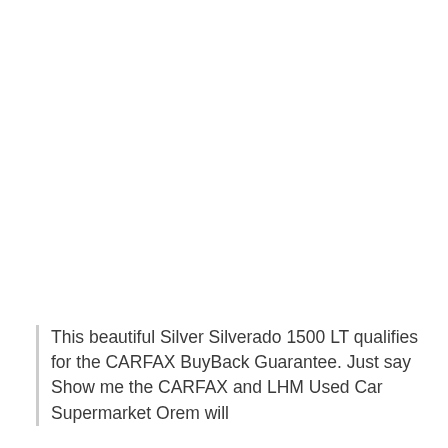This beautiful Silver Silverado 1500 LT qualifies for the CARFAX BuyBack Guarantee. Just say Show me the CARFAX and LHM Used Car Supermarket Orem will